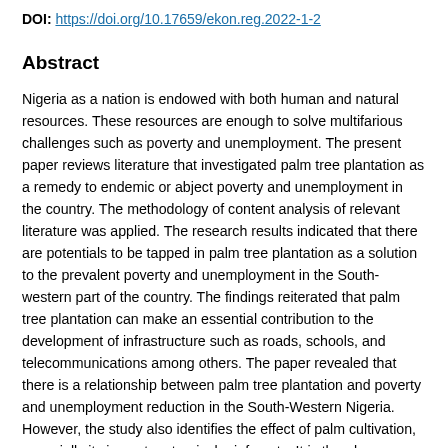DOI: https://doi.org/10.17659/ekon.reg.2022-1-2
Abstract
Nigeria as a nation is endowed with both human and natural resources. These resources are enough to solve multifarious challenges such as poverty and unemployment. The present paper reviews literature that investigated palm tree plantation as a remedy to endemic or abject poverty and unemployment in the country. The methodology of content analysis of relevant literature was applied. The research results indicated that there are potentials to be tapped in palm tree plantation as a solution to the prevalent poverty and unemployment in the South-western part of the country. The findings reiterated that palm tree plantation can make an essential contribution to the development of infrastructure such as roads, schools, and telecommunications among others. The paper revealed that there is a relationship between palm tree plantation and poverty and unemployment reduction in the South-Western Nigeria. However, the study also identifies the effect of palm cultivation, especially its impact on tropical rainforests. It is thereby suggested that palm tree